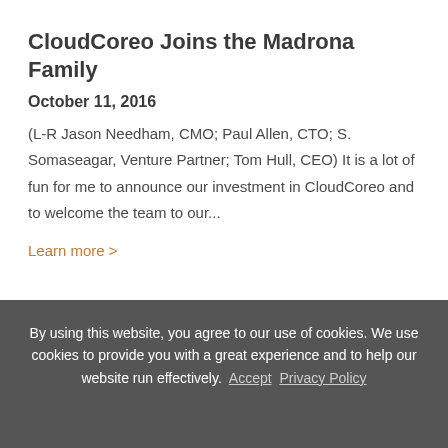CloudCoreo Joins the Madrona Family
October 11, 2016
(L-R Jason Needham, CMO; Paul Allen, CTO; S. Somaseagar, Venture Partner; Tom Hull, CEO) It is a lot of fun for me to announce our investment in CloudCoreo and to welcome the team to our...
Learn more >
Subscribe to our Insights Newsletter
By using this website, you agree to our use of cookies. We use cookies to provide you with a great experience and to help our website run effectively.  Accept  Privacy Policy